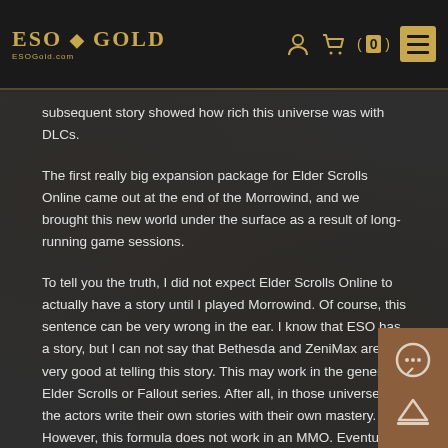ESO-GOLD | ESOGold.com | navigation icons: user, cart (0), menu
subsequent story showed how rich this universe was with DLCs.
The first really big expansion package for Elder Scrolls Online came out at the end of the Morrowind, and we brought this new world under the surface as a result of long-running game sessions.
To tell you the truth, I did not expect Elder Scrolls Online to actually have a story until I played Morrowind. Of course, this sentence can be very wrong in the ear. I know that ESO has a story, but I can not say that Bethesda and ZeniMax are very good at telling this story. This may work in the general Elder Scrolls or Fallout series. After all, in those universes, the actors write their own stories with their own mastery. However, this formula does not work in an MMO. Eventually the production